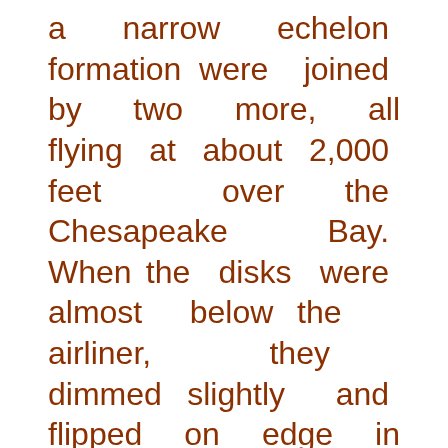a narrow echelon formation were joined by two more, all flying at about 2,000 feet over the Chesapeake Bay. When the disks were almost below the airliner, they dimmed slightly and flipped on edge in unison. The edges seemed to be about 15 feet thick, and top surfaces appeared to be flat. After being interrogated by the